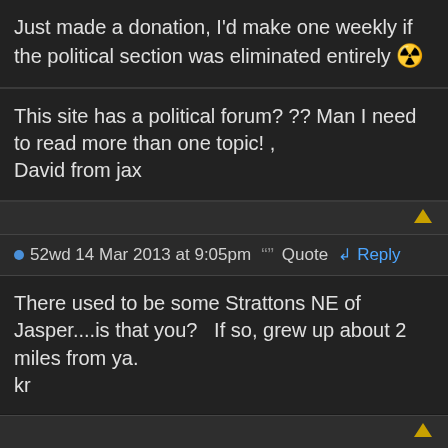Just made a donation, I'd make one weekly if the political section was eliminated entirely 🤩
This site has a political forum? ?? Man I need to read more than one topic! ,
David from jax
52wd 14 Mar 2013 at 9:05pm  Quote  Reply
There used to be some Strattons NE of Jasper....is that you?   If so, grew up about 2 miles from ya.
kr